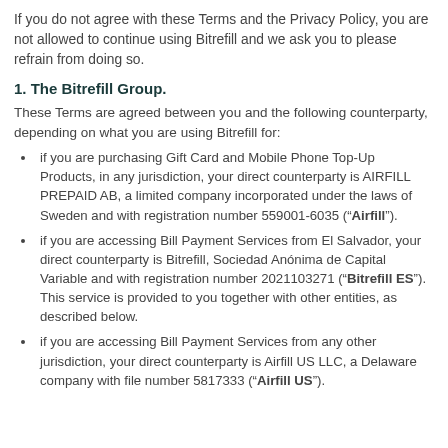If you do not agree with these Terms and the Privacy Policy, you are not allowed to continue using Bitrefill and we ask you to please refrain from doing so.
1. The Bitrefill Group.
These Terms are agreed between you and the following counterparty, depending on what you are using Bitrefill for:
if you are purchasing Gift Card and Mobile Phone Top-Up Products, in any jurisdiction, your direct counterparty is AIRFILL PREPAID AB, a limited company incorporated under the laws of Sweden and with registration number 559001-6035 (“Airfill”).
if you are accessing Bill Payment Services from El Salvador, your direct counterparty is Bitrefill, Sociedad Anónima de Capital Variable and with registration number 2021103271 (“Bitrefill ES”). This service is provided to you together with other entities, as described below.
if you are accessing Bill Payment Services from any other jurisdiction, your direct counterparty is Airfill US LLC, a Delaware company with file number 5817333 (“Airfill US”).